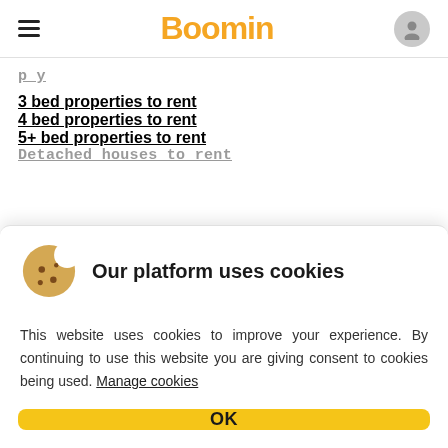Boomin
3 bed properties to rent
4 bed properties to rent
5+ bed properties to rent
Detached houses to rent
Our platform uses cookies
This website uses cookies to improve your experience. By continuing to use this website you are giving consent to cookies being used. Manage cookies
OK